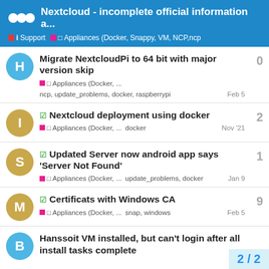Nextcloud - incomplete official information a...
i Support · Appliances (Docker, Snappy, VM, NCP,ncp
Migrate NextcloudPi to 64 bit with major version skip | Appliances (Docker, ... | ncp, update_problems, docker, raspberrypi | Feb 5 | 0 replies
☑ Nextcloud deployment using docker | Appliances (Docker, ... | docker | Nov '21 | 2 replies
☑ Updated Server now android app says 'Server Not Found' | Appliances (Docker, ... | update_problems, docker | Jan 9 | 1 reply
☑ Certificats with Windows CA | Appliances (Docker, ... | snap, windows | Feb 5 | 9 replies
Hanssoit VM installed, but can't login after all install tasks complete | 2 / 2